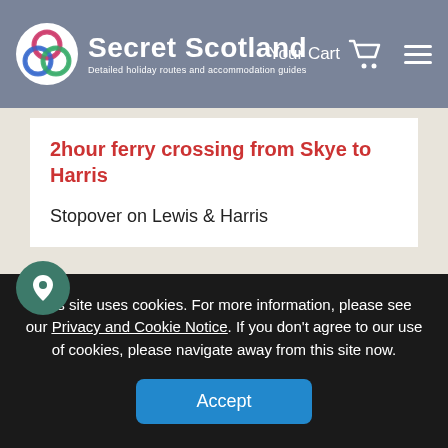Secret Scotland - Detailed holiday routes and accommodation guides | Your Cart | Menu
2hour ferry crossing from Skye to Harris
Stopover on Lewis & Harris
Day Trips around Harris & Lewis -
You could fill a week with sightseeing in the Western Isles, but you really shouldn't consider anything less
This site uses cookies. For more information, please see our Privacy and Cookie Notice. If you don't agree to our use of cookies, please navigate away from this site now.
Accept